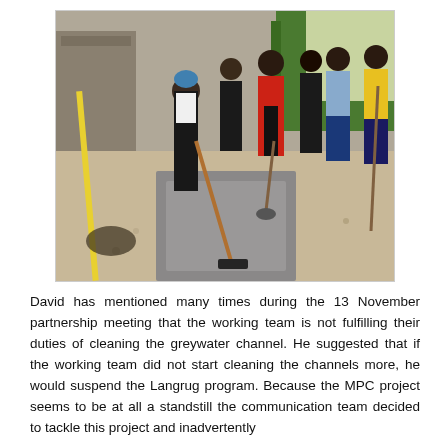[Figure (photo): Group of people cleaning a greywater channel outdoors. A woman in black is sweeping with a broom, others stand or walk nearby on muddy ground with shacks and greenery in the background.]
David has mentioned many times during the 13 November partnership meeting that the working team is not fulfilling their duties of cleaning the greywater channel. He suggested that if the working team did not start cleaning the channels more, he would suspend the Langrug program. Because the MPC project seems to be at all a standstill the communication team decided to tackle this project and inadvertently